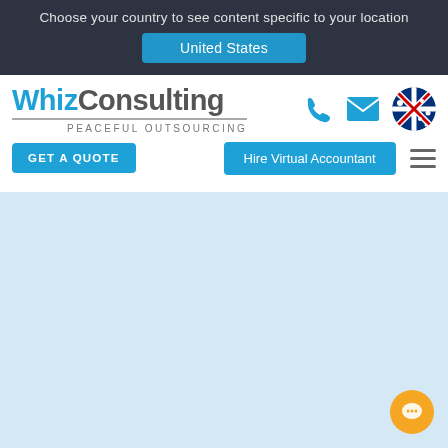Choose your country to see content specific to your location
United States
[Figure (logo): WhizConsulting logo with tagline 'Peaceful Outsourcing']
[Figure (illustration): Phone icon, email envelope icon, and Australian flag circle icons in nav bar]
GET A QUOTE
Hire Virtual Accountant
[Figure (illustration): Light blue hero/content area background]
[Figure (illustration): Orange chat bubble icon in bottom right corner]